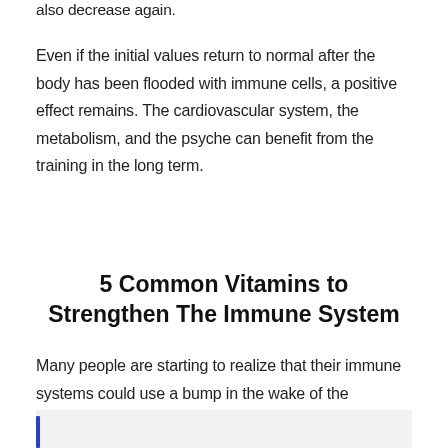also decrease again. Even if the initial values return to normal after the body has been flooded with immune cells, a positive effect remains. The cardiovascular system, the metabolism, and the psyche can benefit from the training in the long term.
5 Common Vitamins to Strengthen The Immune System
Many people are starting to realize that their immune systems could use a bump in the wake of the pandemic.